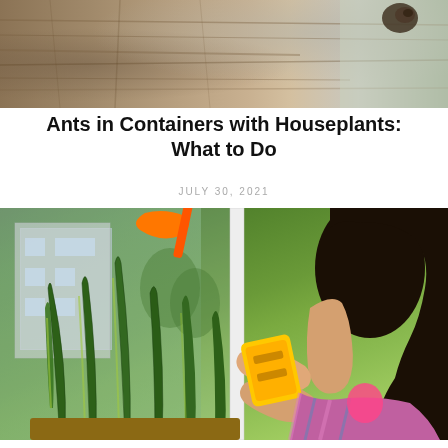[Figure (photo): Close-up of tree bark texture with what appears to be a snail or similar creature visible at the top right corner]
Ants in Containers with Houseplants: What to Do
JULY 30, 2021
[Figure (photo): Woman in plaid shirt cleaning a window with a yellow magnetic cleaner, with snake plants (Sansevieria) in the foreground and an orange garden tool visible at the top left]